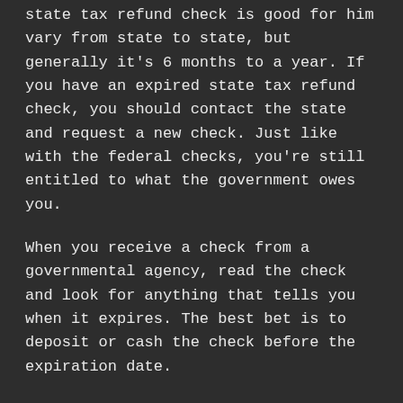state tax refund check is good for him vary from state to state, but generally it's 6 months to a year. If you have an expired state tax refund check, you should contact the state and request a new check. Just like with the federal checks, you're still entitled to what the government owes you.
When you receive a check from a governmental agency, read the check and look for anything that tells you when it expires. The best bet is to deposit or cash the check before the expiration date.
When Do Cashier's Checks Expire?
Cashier's checks are a type of "official check" and the rules surrounding them can be complicated. There's no set or specified expiration date for cashier's checks. Some say cashier's checks don't expire, while others